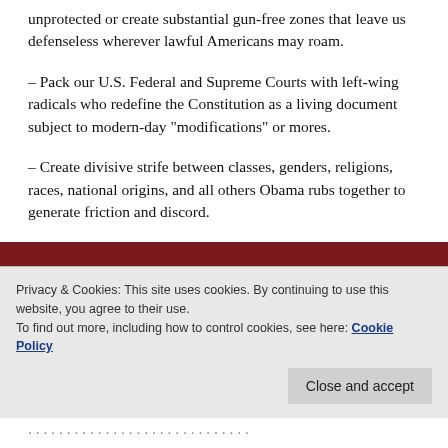unprotected or create substantial gun-free zones that leave us defenseless wherever lawful Americans may roam.
– Pack our U.S. Federal and Supreme Courts with left-wing radicals who redefine the Constitution as a living document subject to modern-day "modifications" or mores.
– Create divisive strife between classes, genders, religions, races, national origins, and all others Obama rubs together to generate friction and discord.
Privacy & Cookies: This site uses cookies. By continuing to use this website, you agree to their use. To find out more, including how to control cookies, see here: Cookie Policy
Close and accept